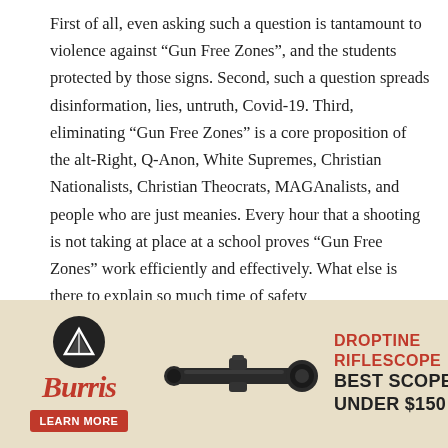First of all, even asking such a question is tantamount to violence against “Gun Free Zones”, and the students protected by those signs. Second, such a question spreads disinformation, lies, untruth, Covid-19. Third, eliminating “Gun Free Zones” is a core proposition of the alt-Right, Q-Anon, White Supremes, Christian Nationalists, Christian Theocrats, MAGAnalists, and people who are just meanies. Every hour that a shooting is not taking at place at a school proves “Gun Free Zones” work efficiently and effectively. What else is there to explain so much time of safety
[Figure (other): Advertisement for Burris Droptine Riflescope. Features Burris logo (mountain/triangle icon in black circle), Burris script logo in red italic, a Learn More button in red, a rifle scope image in center, and text reading DROPTINE RIFLESCOPE BEST SCOPE UNDER $150 in bold.]